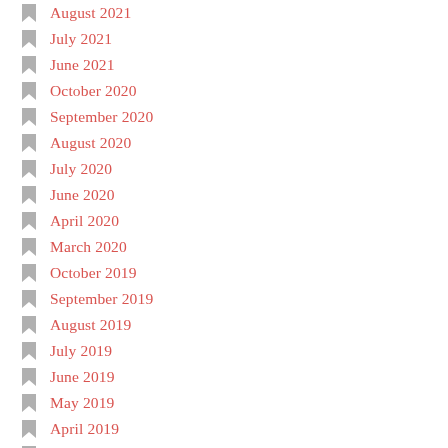August 2021
July 2021
June 2021
October 2020
September 2020
August 2020
July 2020
June 2020
April 2020
March 2020
October 2019
September 2019
August 2019
July 2019
June 2019
May 2019
April 2019
January 2019
October 2018